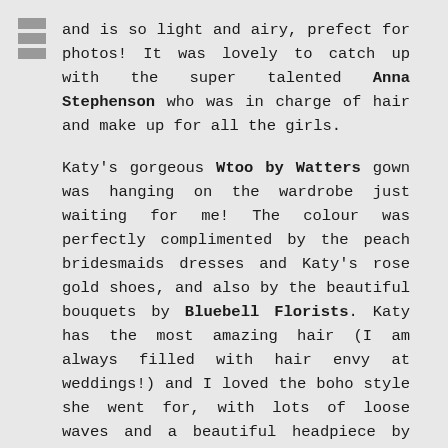and is so light and airy, prefect for photos! It was lovely to catch up with the super talented Anna Stephenson who was in charge of hair and make up for all the girls.
Katy's gorgeous Wtoo by Watters gown was hanging on the wardrobe just waiting for me! The colour was perfectly complimented by the peach bridesmaids dresses and Katy's rose gold shoes, and also by the beautiful bouquets by Bluebell Florists. Katy has the most amazing hair (I am always filled with hair envy at weddings!) and I loved the boho style she went for, with lots of loose waves and a beautiful headpiece by Ivory and co.
When hair and make up were pretty much there, I nipped down to photograph the ceremony room all set up. I timed it just